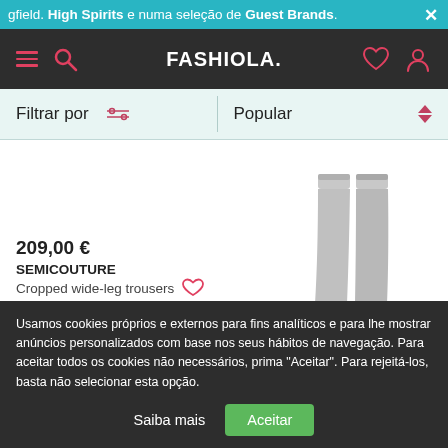gfield. High Spirits e numa seleção de Guest Brands.
[Figure (screenshot): Fashiola website navigation bar with hamburger menu, search icon, FASHIOLA. logo, heart icon, and profile icon on dark background]
Filtrar por | Popular
[Figure (photo): Product image showing grey cropped wide-leg trousers]
209,00 €
SEMICOUTURE
Cropped wide-leg trousers
Fashiola.pt > Mulher > Roupa > Calças & Jeans > Calças > Calças à Boca-de-sino em Bibloo
Usamos cookies próprios e externos para fins analíticos e para lhe mostrar anúncios personalizados com base nos seus hábitos de navegação. Para aceitar todos os cookies não necessários, prima "Aceitar". Para rejeitá-los, basta não selecionar esta opção.